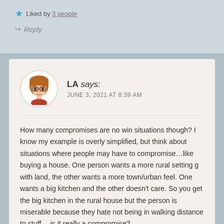★ Liked by 3 people
↪ Reply
LA says:
JUNE 3, 2021 AT 8:39 AM
How many compromises are no win situations though? I know my example is overly simplified, but think about situations where people may have to compromise…like buying a house. One person wants a more rural setting g with land, the other wants a more town/urban feel. One wants a big kitchen and the other doesn't care. So you get the big kitchen in the rural house but the person is miserable because they hate not being in walking distance to stuff….is it really a compromise?